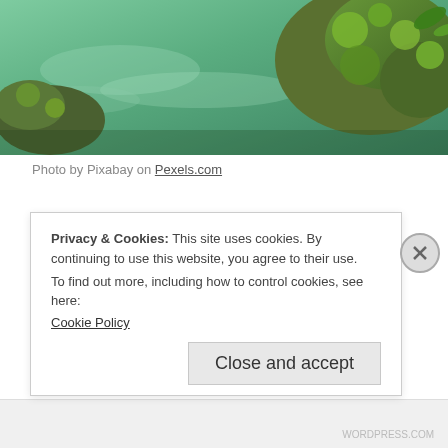[Figure (photo): Close-up photo of moss-covered rocks with green water/stream, nature scenery]
Photo by Pixabay on Pexels.com
As the camp went on, counsellors shared their environmental tidbits of earthkeeping wisdom. I will never forget how this woman told us how we should never switch on the stereo and listen to music. The stereo uses
Privacy & Cookies: This site uses cookies. By continuing to use this website, you agree to their use.
To find out more, including how to control cookies, see here:
Cookie Policy
Close and accept